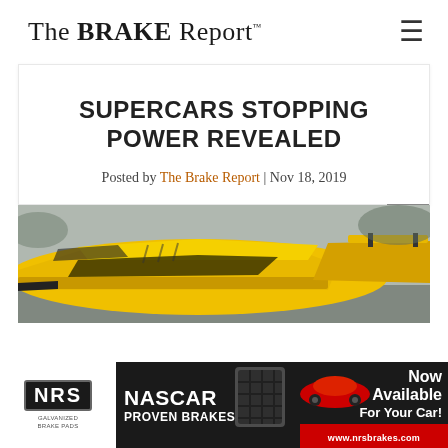The BRAKE Report
SUPERCARS STOPPING POWER REVEALED
Posted by The Brake Report | Nov 18, 2019
[Figure (photo): Yellow supercar photographed from the front/side on a racetrack or road]
[Figure (infographic): NRS Galvanized Brake Pads advertisement banner: NASCAR Proven Brakes, Now Available For Your Car!, www.nrsbrakes.com]